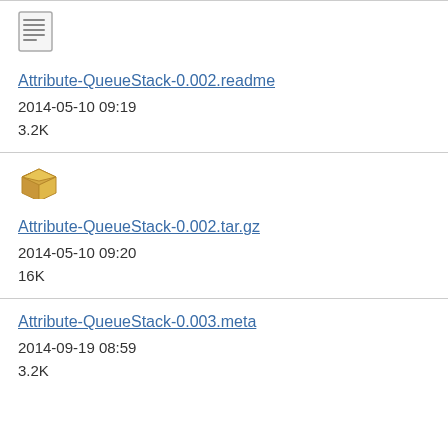[Figure (other): Text file icon (document with lines)]
Attribute-QueueStack-0.002.readme
2014-05-10 09:19
3.2K
[Figure (other): Package/archive icon (open box)]
Attribute-QueueStack-0.002.tar.gz
2014-05-10 09:20
16K
Attribute-QueueStack-0.003.meta
2014-09-19 08:59
3.2K